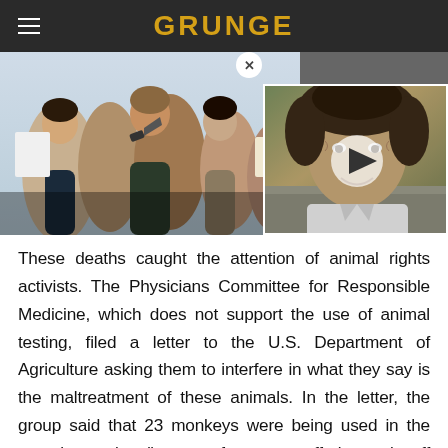GRUNGE
[Figure (photo): Left: protesters/activists crowd with megaphone. Right: close-up of an older man outdoors with a play button overlay (video thumbnail).]
These deaths caught the attention of animal rights activists. The Physicians Committee for Responsible Medicine, which does not support the use of animal testing, filed a letter to the U.S. Department of Agriculture asking them to interfere in what they say is the maltreatment of these animals. In the letter, the group said that 23 monkeys were being used in the experiments in a "pattern of extreme suffering and staff negligence," according to CNN Business. That followed a